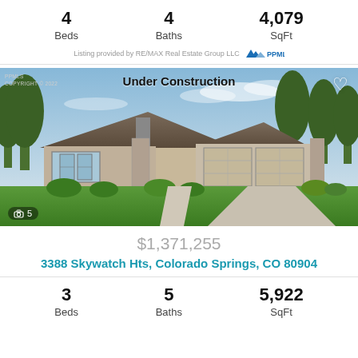4 Beds  |  4 Baths  |  4,079 SqFt
Listing provided by RE/MAX Real Estate Group LLC  [PPMLS logo]
[Figure (photo): Under Construction rendering of a single-story ranch-style home with stone accents, three-car garage, landscaped yard, and trees. Label 'Under Construction' at top center. Photo count badge showing camera icon and 5.]
$1,371,255
3388 Skywatch Hts, Colorado Springs, CO 80904
3 Beds  |  5 Baths  |  5,922 SqFt